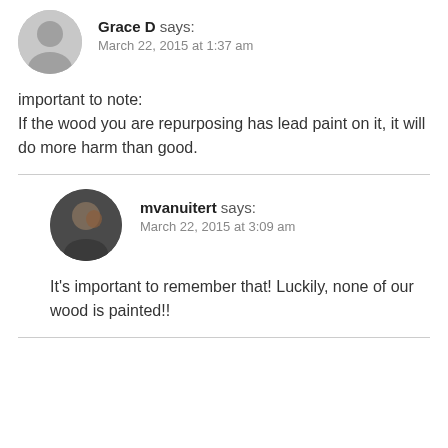Grace D says:
March 22, 2015 at 1:37 am
important to note:
If the wood you are repurposing has lead paint on it, it will do more harm than good.
mvanuitert says:
March 22, 2015 at 3:09 am
It’s important to remember that! Luckily, none of our wood is painted!!